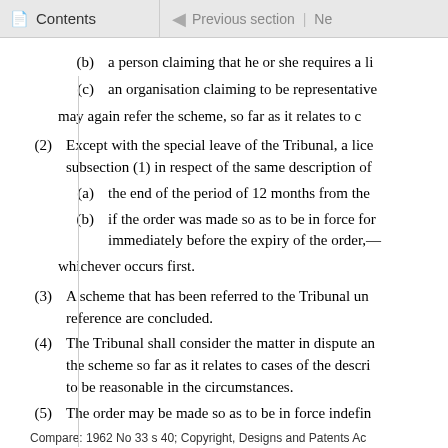Contents | Previous section | Ne
(b)   a person claiming that he or she requires a li
(c)   an organisation claiming to be representative
may again refer the scheme, so far as it relates to c
(2)   Except with the special leave of the Tribunal, a lice subsection (1) in respect of the same description of
(a)   the end of the period of 12 months from the
(b)   if the order was made so as to be in force for immediately before the expiry of the order,—
whichever occurs first.
(3)   A scheme that has been referred to the Tribunal un reference are concluded.
(4)   The Tribunal shall consider the matter in dispute an the scheme so far as it relates to cases of the descri to be reasonable in the circumstances.
(5)   The order may be made so as to be in force indefin
Compare: 1962 No 33 s 40; Copyright, Designs and Patents Ac